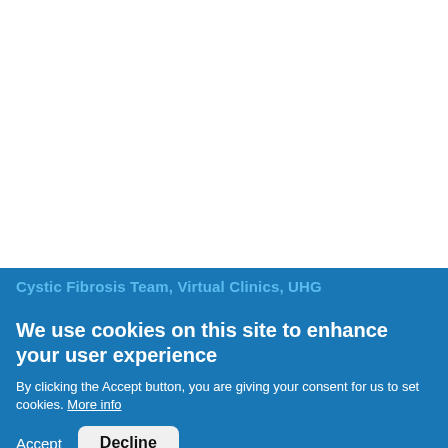Cystic Fibrosis Team, Virtual Clinics, UHG
We use cookies on this site to enhance your user experience
By clicking the Accept button, you are giving your consent for us to set cookies. More info
Accept
Decline